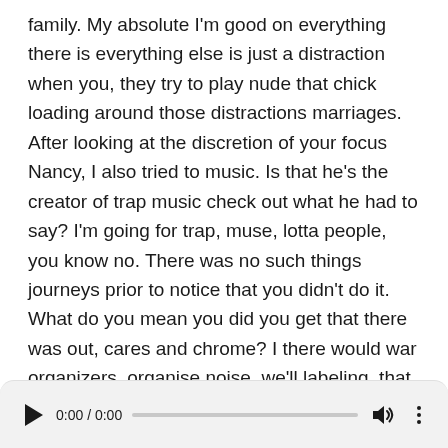family. My absolute I'm good on everything there is everything else is just a distraction when you, they try to play nude that chick loading around those distractions marriages. After looking at the discretion of your focus Nancy, I also tried to music. Is that he's the creator of trap music check out what he had to say? I'm going for trap, muse, lotta people, you know no. There was no such things journeys prior to notice that you didn't do it. What do you mean you did you get that there was out, cares and chrome? I there would war organizers, organise noise, we'll labeling, that out the gate yeah, my second, no two thousand three regular mean by that is accurate. First, I'm a member here in terms of the eye on a second armantrout music, now would say that it was recognized. Daylight had